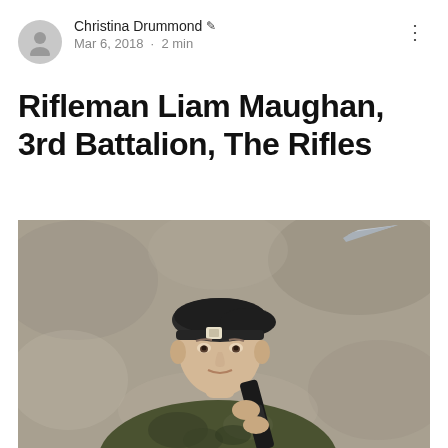Christina Drummond ✏ Mar 6, 2018 · 2 min
Rifleman Liam Maughan, 3rd Battalion, The Rifles
[Figure (photo): Portrait photo of a young male soldier wearing a dark beret with a cap badge, dressed in camouflage uniform, holding a rifle with bayonet attached, posed against a mottled grey studio background.]